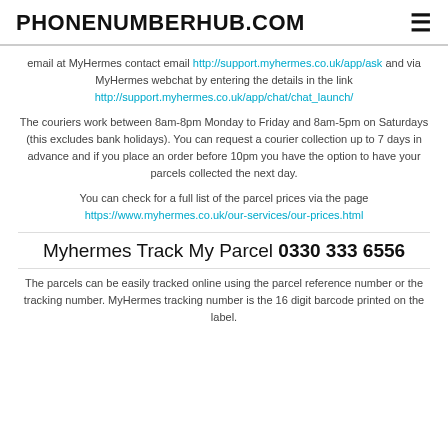PHONENUMBERHUB.COM
email at MyHermes contact email http://support.myhermes.co.uk/app/ask and via MyHermes webchat by entering the details in the link http://support.myhermes.co.uk/app/chat/chat_launch/
The couriers work between 8am-8pm Monday to Friday and 8am-5pm on Saturdays (this excludes bank holidays). You can request a courier collection up to 7 days in advance and if you place an order before 10pm you have the option to have your parcels collected the next day.
You can check for a full list of the parcel prices via the page https://www.myhermes.co.uk/our-services/our-prices.html
Myhermes Track My Parcel 0330 333 6556
The parcels can be easily tracked online using the parcel reference number or the tracking number. MyHermes tracking number is the 16 digit barcode printed on the label.